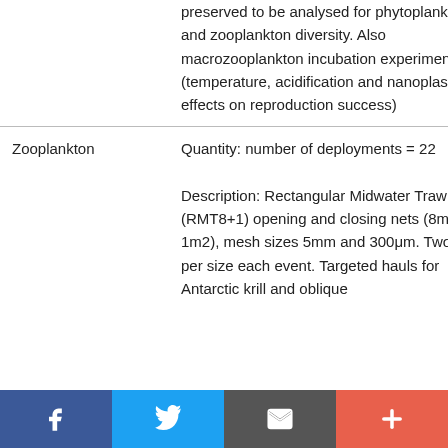|  |  |
| --- | --- |
|  | preserved to be analysed for phytoplankton and zooplankton diversity. Also macrozooplankton incubation experiments (temperature, acidification and nanoplastic effects on reproduction success) |
| Zooplankton | Quantity: number of deployments = 22
Description: Rectangular Midwater Trawl 8+1 (RMT8+1) opening and closing nets (8m and 1m2), mesh sizes 5mm and 300μm. Two nets per size each event. Targeted hauls for Antarctic krill and oblique |
[Figure (infographic): Social media share bar with Facebook, Twitter, email, and plus buttons]